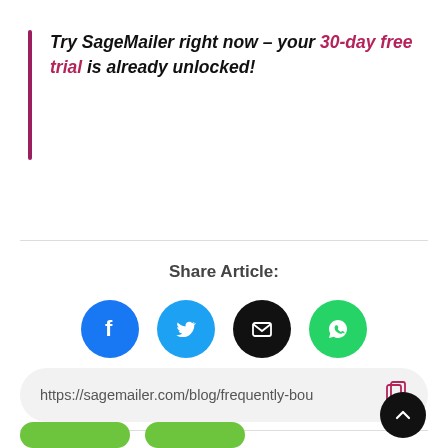Try SageMailer right now – your 30-day free trial is already unlocked!
[Figure (infographic): Share Article section with four circular social media icons: Facebook (blue), Twitter (cyan), Email (black), WhatsApp (green), and a URL bar showing https://sagemailer.com/blog/frequently-bou with a copy icon]
https://sagemailer.com/blog/frequently-bou